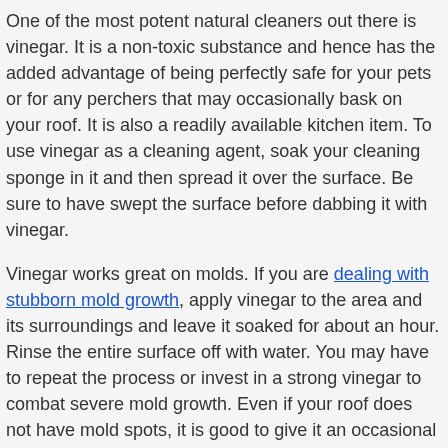One of the most potent natural cleaners out there is vinegar. It is a non-toxic substance and hence has the added advantage of being perfectly safe for your pets or for any perchers that may occasionally bask on your roof. It is also a readily available kitchen item. To use vinegar as a cleaning agent, soak your cleaning sponge in it and then spread it over the surface. Be sure to have swept the surface before dabbing it with vinegar.
Vinegar works great on molds. If you are dealing with stubborn mold growth, apply vinegar to the area and its surroundings and leave it soaked for about an hour. Rinse the entire surface off with water. You may have to repeat the process or invest in a strong vinegar to combat severe mold growth. Even if your roof does not have mold spots, it is good to give it an occasional vinegar wash to prevent mold growth.